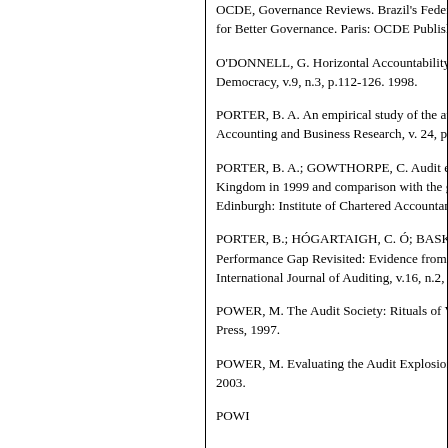OCDE, Governance Reviews. Brazil's Federal Court of Accounts: Insight and Foresight for Better Governance. Paris: OCDE Publishing, 2017.
O'DONNELL, G. Horizontal Accountability in New Democracies. Journal of Democracy, v.9, n.3, p.112-126. 1998.
PORTER, B. A. An empirical study of the audit expectation-performance gap. Accounting and Business Research, v. 24, p. 49-68, 1993.
PORTER, B. A.; GOWTHORPE, C. Audit expectation-performance gap in the United Kingdom in 1999 and comparison with the gap in New Zealand in 1989 and 1999. Edinburgh: Institute of Chartered Accountants of Scotland, 2004.
PORTER, B.; HÓGARTAIGH, C. Ó; BASKERVILLE, R. Audit Expectation-Performance Gap Revisited: Evidence from New Zealand and the United Kingdom. International Journal of Auditing, v.16, n.2, p.101--29, 2012.
POWER, M. The Audit Society: Rituals of Verification. Oxford: Oxford University Press, 1997.
POWER, M. Evaluating the Audit Explosion. Law and Policy, v.25, n.3, p.185--202, 2003.
POWI... (partial entry cut off)